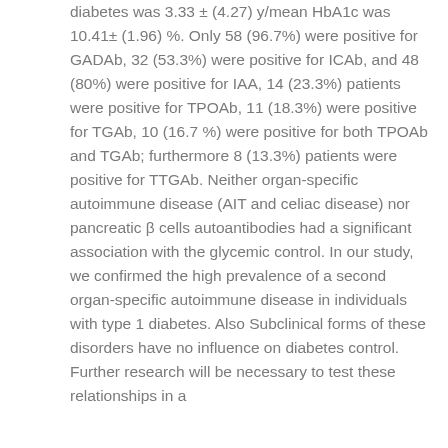diabetes was 3.33 ± (4.27) y/mean HbA1c was 10.41± (1.96) %. Only 58 (96.7%) were positive for GADAb, 32 (53.3%) were positive for ICAb, and 48 (80%) were positive for IAA, 14 (23.3%) patients were positive for TPOAb, 11 (18.3%) were positive for TGAb, 10 (16.7 %) were positive for both TPOAb and TGAb; furthermore 8 (13.3%) patients were positive for TTGAb. Neither organ-specific autoimmune disease (AIT and celiac disease) nor pancreatic β cells autoantibodies had a significant association with the glycemic control. In our study, we confirmed the high prevalence of a second organ-specific autoimmune disease in individuals with type 1 diabetes. Also Subclinical forms of these disorders have no influence on diabetes control. Further research will be necessary to test these relationships in a